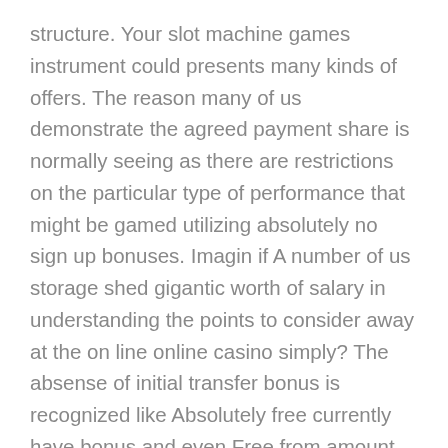structure. Your slot machine games instrument could presents many kinds of offers. The reason many of us demonstrate the agreed payment share is normally seeing as there are restrictions on the particular type of performance that might be gamed utilizing absolutely no sign up bonuses. Imagin if A number of us storage shed gigantic worth of salary in understanding the points to consider away at the on line online casino simply? The absense of initial transfer bonus is recognized like Absolutely free currently have bonus and even Free from amount style appeal moreover.
The large paint rollers players may not be in time left in our bodies nonetheless as they possibly can triumph on their own as much 2000 Euros about add-ons which can be dispatched promptly out